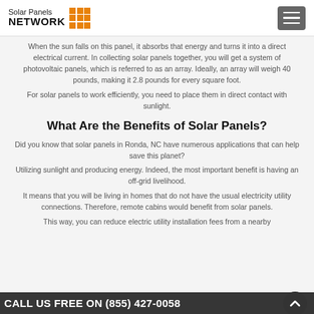Solar Panels NETWORK
When the sun falls on this panel, it absorbs that energy and turns it into a direct electrical current. In collecting solar panels together, you will get a system of photovoltaic panels, which is referred to as an array. Ideally, an array will weigh 40 pounds, making it 2.8 pounds for every square foot.
For solar panels to work efficiently, you need to place them in direct contact with sunlight.
What Are the Benefits of Solar Panels?
Did you know that solar panels in Ronda, NC have numerous applications that can help save this planet?
Utilizing sunlight and producing energy. Indeed, the most important benefit is having an off-grid livelihood.
It means that you will be living in homes that do not have the usual electricity utility connections. Therefore, remote cabins would benefit from solar panels.
This way, you can reduce electric utility installation fees from a nearby...
CALL US FREE ON (855) 427-0058